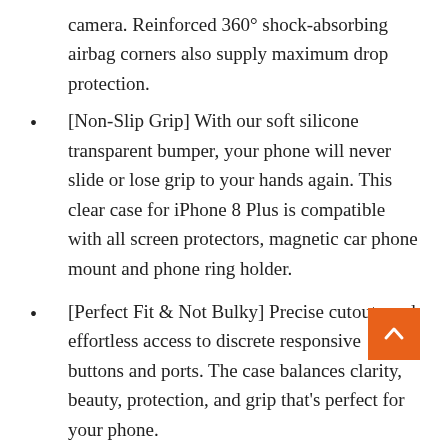camera. Reinforced 360° shock-absorbing airbag corners also supply maximum drop protection.
[Non-Slip Grip] With our soft silicone transparent bumper, your phone will never slide or lose grip to your hands again. This clear case for iPhone 8 Plus is compatible with all screen protectors, magnetic car phone mount and phone ring holder.
[Perfect Fit & Not Bulky] Precise cutouts and effortless access to discrete responsive buttons and ports. The case balances clarity, beauty, protection, and grip that's perfect for your phone.
Orase Offers a Lifetime Warranty.
4. iPhone 7 Plus/iPhone 8 Plus Case,